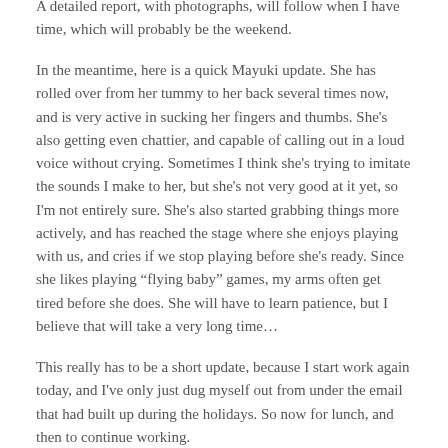to visit us on the return leg of their New Zealand trip, then we went to Nagoya to stay with Yuriko's parents for a few nights. A detailed report, with photographs, will follow when I have time, which will probably be the weekend.
In the meantime, here is a quick Mayuki update. She has rolled over from her tummy to her back several times now, and is very active in sucking her fingers and thumbs. She's also getting even chattier, and capable of calling out in a loud voice without crying. Sometimes I think she's trying to imitate the sounds I make to her, but she's not very good at it yet, so I'm not entirely sure. She's also started grabbing things more actively, and has reached the stage where she enjoys playing with us, and cries if we stop playing before she's ready. Since she likes playing “flying baby” games, my arms often get tired before she does. She will have to learn patience, but I believe that will take a very long time…
This really has to be a short update, because I start work again today, and I've only just dug myself out from under the email that had built up during the holidays. So now for lunch, and then to continue working.